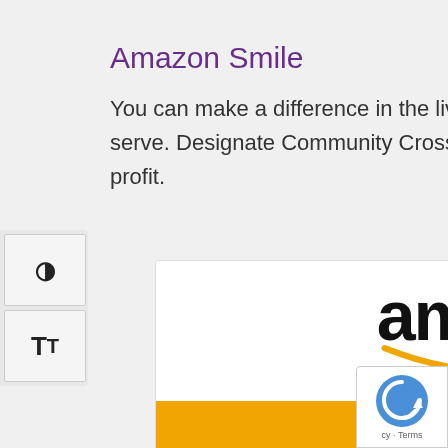Amazon Smile
You can make a difference in the lives of the individuals and families we serve. Designate Community Crossroads as your Amazon Smile non-profit.
[Figure (logo): Amazon Smile logo — the word 'amazon' in black bold text with an orange arrow/smile arc underneath, and an orange band below with 'smile' written in white letters.]